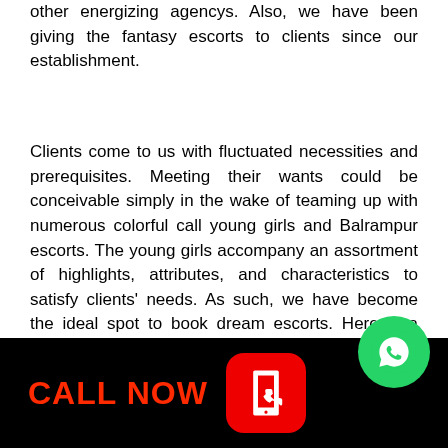other energizing agencys. Also, we have been giving the fantasy escorts to clients since our establishment.
Clients come to us with fluctuated necessities and prerequisites. Meeting their wants could be conceivable simply in the wake of teaming up with numerous colorful call young girls and Balrampur escorts. The young girls accompany an assortment of highlights, attributes, and characteristics to satisfy clients' needs. As such, we have become the ideal spot to book dream escorts. Here is a rundown of premium call young girls and escorts accessible in our organization:
[Figure (infographic): Black banner with red CALL NOW text and red phone icon button, and a partial green WhatsApp circle icon to the right]
EF CALL YOUNG GIRLS A
ts to meet with premium